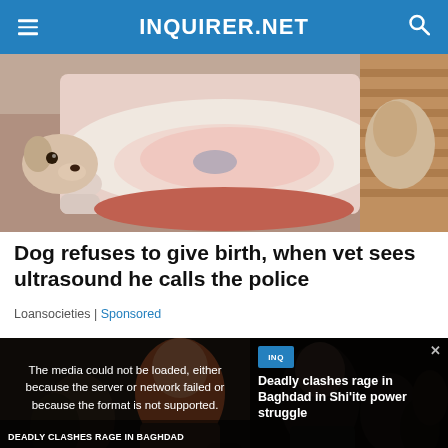INQUIRER.NET
[Figure (photo): A dog lying on its back on a couch, appearing pregnant or ill, with another dog visible nearby.]
Dog refuses to give birth, when vet sees ultrasound he calls the police
Loansocieties | Sponsored
[Figure (screenshot): News video screenshot showing people with text overlay 'DEADLY CLASHES RAGE IN BAGHDAD IN SHI'ITE POWER STRUGGLE', with a media error overlay reading 'The media could not be loaded, either because the server or network failed or because the format is not supported.' and a side panel showing 'Deadly clashes rage in Baghdad in Shi'ite power struggle'. An X close button is visible at the bottom center.]